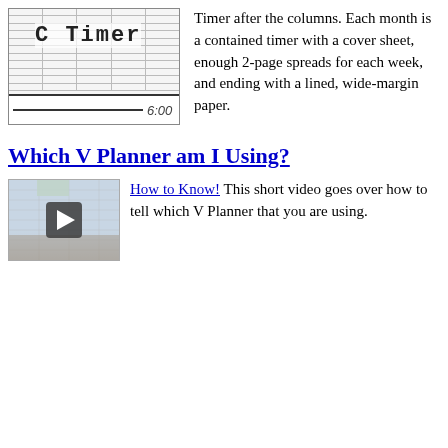[Figure (screenshot): C Timer planner image showing a grid-style layout with 'C Timer' label and time '6:00' at the bottom]
Timer after the columns. Each month is a contained timer with a cover sheet, enough 2-page spreads for each week, and ending with a lined, wide-margin paper.
Which V Planner am I Using?
[Figure (screenshot): Video thumbnail showing a planner screenshot with a play button overlay]
How to Know! This short video goes over how to tell which V Planner that you are using.